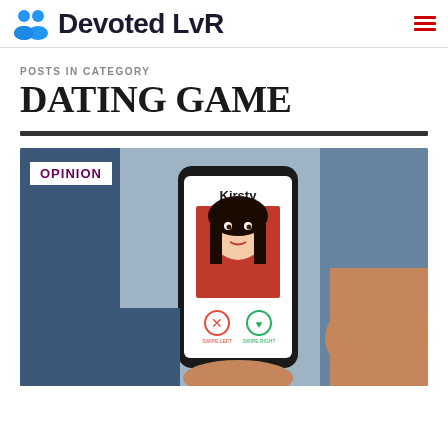Devoted LvR
POSTS IN CATEGORY
DATING GAME
[Figure (photo): Person holding a smartphone displaying a dating app profile for 'Kirsty' - a young woman with dark hair in a red top. The app shows swipe left (X) and swipe right (heart) buttons. An 'OPINION' badge overlays the top-left of the image.]